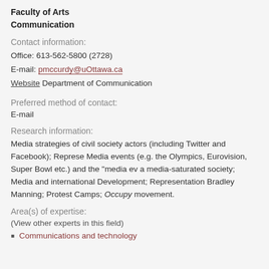Faculty of Arts
Communication
Contact information:
Office: 613-562-5800 (2728)
E-mail: pmccurdy@uOttawa.ca
Website Department of Communication
Preferred method of contact:
E-mail
Research information:
Media strategies of civil society actors (including Twitter and Facebook); Representation of Media events (e.g. the Olympics, Eurovision, Super Bowl etc.) and the "media ev" in a media-saturated society; Media and international Development; Representation of Bradley Manning; Protest Camps; Occupy movement.
Area(s) of expertise:
(View other experts in this field)
Communications and technology